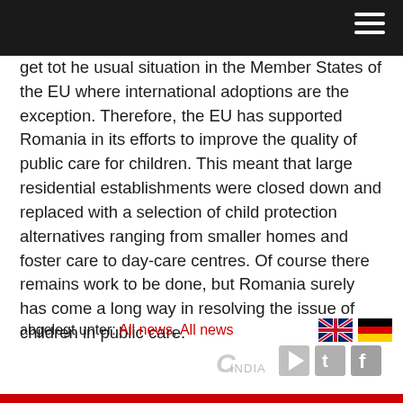[navigation bar]
get tot he usual situation in the Member States of the EU where international adoptions are the exception. Therefore, the EU has supported Romania in its efforts to improve the quality of public care for children. This meant that large residential establishments were closed down and replaced with a selection of child protection alternatives ranging from smaller homes and foster care to day-care centres. Of course there remains work to be done, but Romania surely has come a long way in resolving the issue of children in public care.
abgelegt unter: All news, All news
[Figure (logo): India logo, UK flag, German flag, play button, Twitter icon, Facebook icon at bottom right]